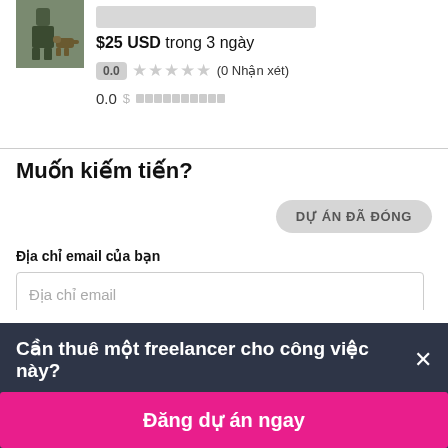[Figure (photo): Small avatar photo of a person with a dog outdoors, partially visible at top]
$25 USD trong 3 ngày
0.0 ★★★★★ (0 Nhận xét)
0.0 $ ██████████
Muốn kiếm tiến?
DỰ ÁN ĐÃ ĐÓNG
Địa chỉ email của bạn
Địa chỉ email
Cần thuê một freelancer cho công việc này? ×
Đăng dự án ngay